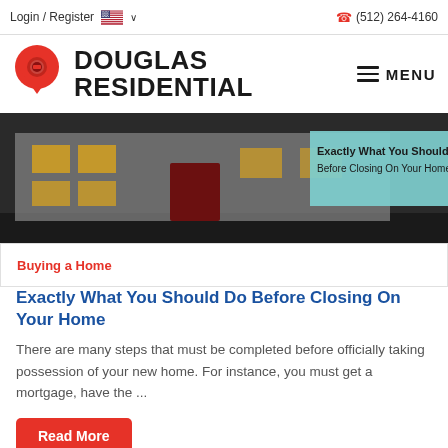Login / Register  🇺🇸 ∨   (512) 264-4160
[Figure (logo): Douglas Residential logo with red location pin icon and company name, plus hamburger menu icon labeled MENU]
[Figure (photo): Hero image showing a house exterior at night with a teal overlay banner reading 'Exactly What You Should Do Before Closing On Your Home']
Buying a Home
Exactly What You Should Do Before Closing On Your Home
There are many steps that must be completed before officially taking possession of your new home. For instance, you must get a mortgage, have the ...
Read More